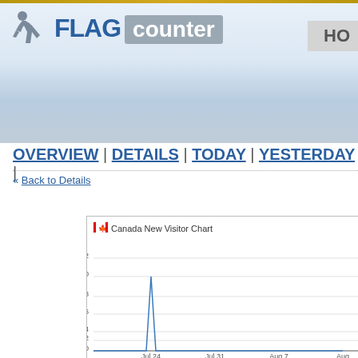[Figure (logo): Flag Counter logo with running figure icon, 'FLAG' in bold blue and 'counter' in gray box]
HO
OVERVIEW | DETAILS | TODAY | YESTERDAY |
« Back to Details
[Figure (line-chart): Canada New Visitor Chart]